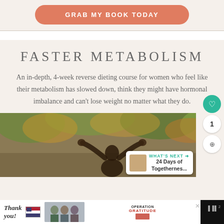[Figure (other): Salmon/coral colored rounded button with text 'GRAB MY BOOK TODAY' on a beige background]
FASTER METABOLISM
An in-depth, 4-week reverse dieting course for women who feel like their metabolism has slowed down, think they might have hormonal imbalance and can't lose weight no matter what they do.
[Figure (photo): Woman seen from behind with arms raised, outdoors in an autumn forest setting]
[Figure (screenshot): UI overlay: heart/like button (teal), count badge showing 1, share button, and 'WHAT'S NEXT' panel showing '24 Days of Togethernes...']
[Figure (other): Bottom advertisement banner: 'Thank you' with American flag imagery and Operation Gratitude logo, on dark background]